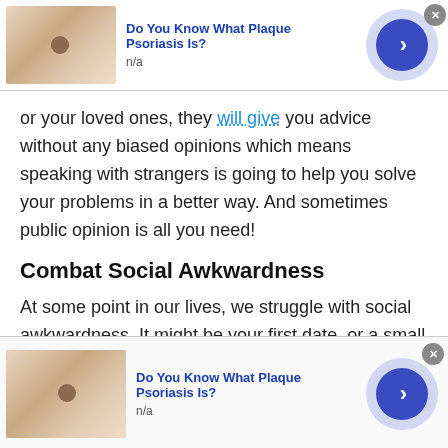[Figure (screenshot): Advertisement banner for 'Do You Know What Plaque Psoriasis Is?' with thumbnail image of skin, blue title text, n/a subtitle, and a blue arrow button with light purple circle background. Gray X close button in corner.]
or your loved ones, they will give you advice without any biased opinions which means speaking with strangers is going to help you solve your problems in a better way. And sometimes public opinion is all you need!
Combat Social Awkwardness
At some point in our lives, we struggle with social awkwardness. It might be your first date, or a small chat with a senior at your workplace, or with a professor at school. Whomever you are making a first impression
[Figure (screenshot): Second advertisement banner for 'Do You Know What Plaque Psoriasis Is?' with thumbnail image of skin, blue title text, n/a subtitle, and a blue arrow button with light purple circle background. Gray X close button in corner.]